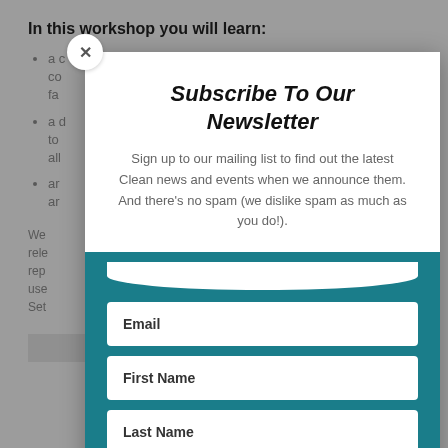In this workshop you will learn:
a ... co... fa...
a ... to ... all...
an... an...
We... rele... rep... use... Set...
Subscribe To Our Newsletter
Sign up to our mailing list to find out the latest Clean news and events when we announce them. And there's no spam (we dislike spam as much as you do!).
Email
First Name
Last Name